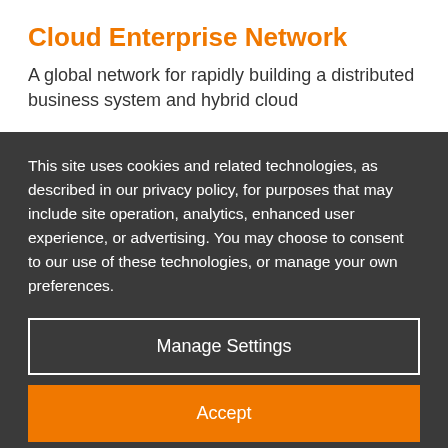Cloud Enterprise Network
A global network for rapidly building a distributed business system and hybrid cloud
This site uses cookies and related technologies, as described in our privacy policy, for purposes that may include site operation, analytics, enhanced user experience, or advertising. You may choose to consent to our use of these technologies, or manage your own preferences.
Manage Settings
Accept
Decline All
Privacy Policy